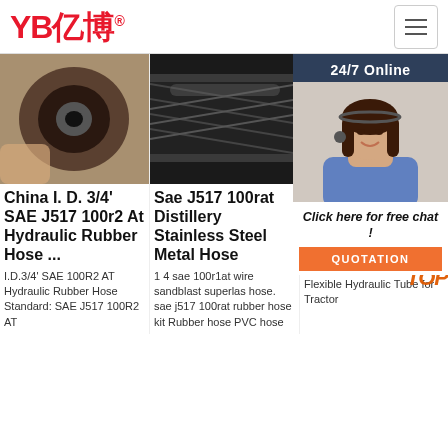YB亿博® — Navigation header with logo and hamburger menu
[Figure (photo): Close-up of a rubber hydraulic hose end held in hand]
[Figure (photo): Close-up of a braided flexible metal/rubber hose lying flat]
[Figure (photo): Online support agent: woman with headset, 24/7 Online label, Click here for free chat button, QUOTATION button]
China I. D. 3/4' SAE J517 100r2 At Hydraulic Rubber Hose ...
I.D.3/4' SAE 100R2 AT Hydraulic Rubber Hose Standard: SAE J517 100R2 AT
Sae J517 100rat Distillery Stainless Steel Metal Hose
1 4 sae 100r1at wire sandblast superlas hose. sae j517 100rat rubber hose kit Rubber hose PVC hose
Sa... Wi... Fu... Tu...
SAE J517 100 R1AT High Pressure Hydraulic Hose, 3/8' J517 100 R1AT 3/8' Flexible Hydraulic Tube for Tractor